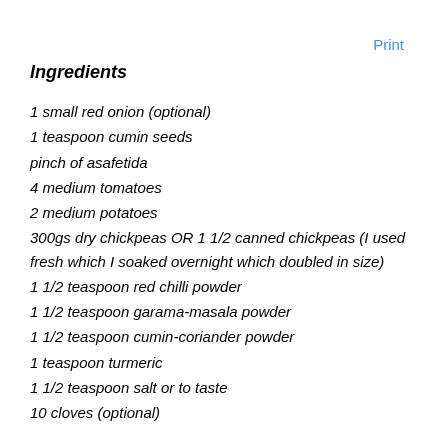Print
Ingredients
1 small red onion (optional)
1 teaspoon cumin seeds
pinch of asafetida
4 medium tomatoes
2 medium potatoes
300gs dry chickpeas OR 1 1/2 canned chickpeas (I used fresh which I soaked overnight which doubled in size)
1 1/2 teaspoon red chilli powder
1 1/2 teaspoon garama-masala powder
1 1/2 teaspoon cumin-coriander powder
1 teaspoon turmeric
1 1/2 teaspoon salt or to taste
10 cloves (optional)